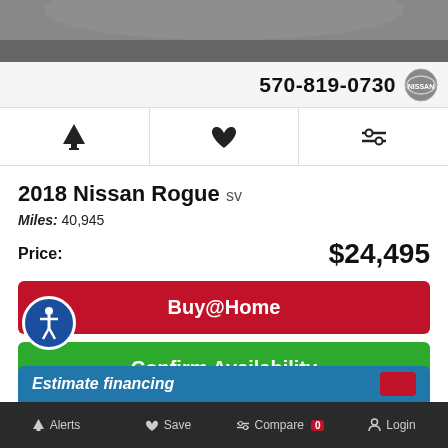[Figure (photo): Partial top view of a car (gray/dark background), cropped]
570-819-0730
[Figure (logo): Nissan circular logo]
2018 Nissan Rogue SV
Miles: 40,945
Price: $24,495
Buy@Home
Confirm Availability
Apply Here for Finance Options
Estimate financing
Alerts  Save  Compare 0  Login